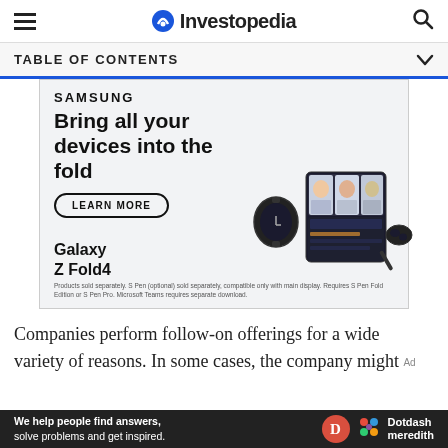Investopedia
TABLE OF CONTENTS
[Figure (illustration): Samsung advertisement for Galaxy Z Fold4. Text: SAMSUNG, Bring all your devices into the fold, LEARN MORE button, Galaxy Z Fold4. Shows watch, foldable phone with video call, and earbuds. Disclaimer: Products sold separately. S Pen (optional) sold separately, compatible only with main display. Requires S Pen Fold Edition or S Pen Pro. Microsoft Teams requires separate download.]
Companies perform follow-on offerings for a wide variety of reasons. In some cases, the company might
[Figure (logo): Dotdash Meredith footer ad bar: We help people find answers, solve problems and get inspired. D logo and Dotdash meredith branding.]